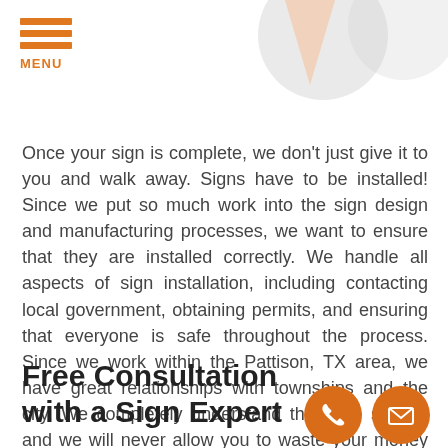MENU
Once your sign is complete, we don't just give it to you and walk away. Signs have to be installed! Since we put so much work into the sign design and manufacturing processes, we want to ensure that they are installed correctly. We handle all aspects of sign installation, including contacting local government, obtaining permits, and ensuring that everyone is safe throughout the process. Since we work within the Pattison, TX area, we have great relationships with townships and the city. We completely understand the code system and we will never allow you to waste your money on a sign that you won't be able to legally use at your location.
Free Consultation with a Sign Expert